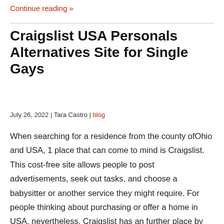Continue reading »
Craigslist USA Personals Alternatives Site for Single Gays
July 26, 2022 | Tara Castro | blog
When searching for a residence from the county ofOhio and USA, 1 place that can come to mind is Craigslist. This cost-free site allows people to post advertisements, seek out tasks, and choose a babysitter or another service they might require. For people thinking about purchasing or offer a home in USA, nevertheless, Craigslist has an further place by which to do so. This network continues to be